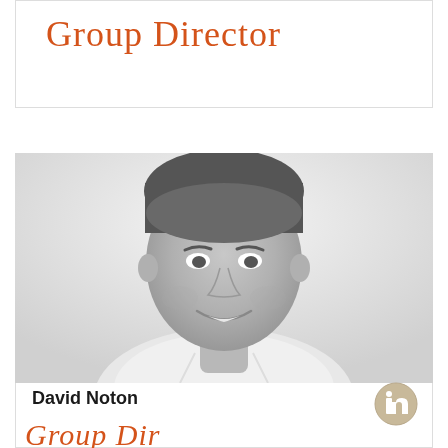Group Director
[Figure (photo): Black and white headshot photo of David Noton, a smiling man in a white shirt, light background]
David Noton
[Figure (logo): LinkedIn icon - circular badge with 'in' text]
Group Director